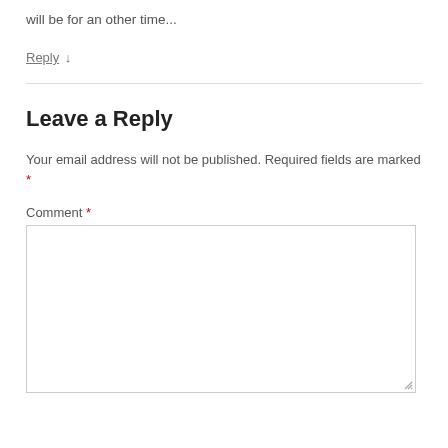will be for an other time...
Reply ↓
Leave a Reply
Your email address will not be published. Required fields are marked *
Comment *